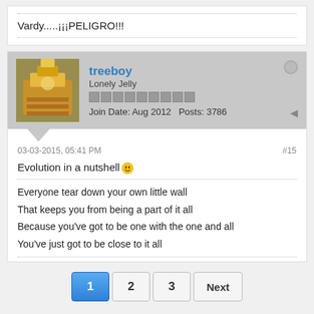Vardy.....¡¡¡PELIGRO!!!
treeboy
Lonely Jelly
Join Date: Aug 2012   Posts: 3786
03-03-2015, 05:41 PM   #15
Evolution in a nutshell 😊
Everyone tear down your own little wall
That keeps you from being a part of it all
Because you've got to be one with the one and all
You've just got to be close to it all
1  2  3  Next